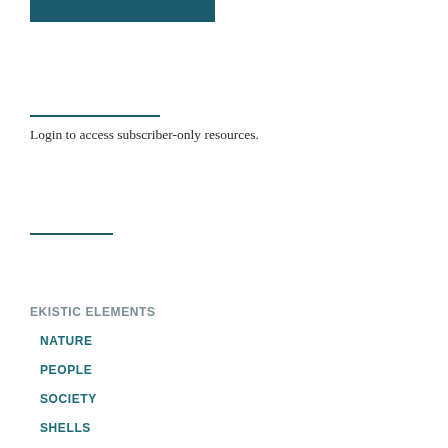[Figure (other): Teal/dark blue horizontal bar at top left of page]
Login to access subscriber-only resources.
EKISTIC ELEMENTS
NATURE
PEOPLE
SOCIETY
SHELLS